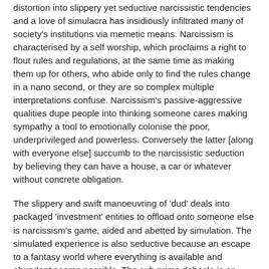distortion into slippery yet seductive narcissistic tendencies and a love of simulacra has insidiously infiltrated many of society's institutions via memetic means. Narcissism is characterised by a self worship, which proclaims a right to flout rules and regulations, at the same time as making them up for others, who abide only to find the rules change in a nano second, or they are so complex multiple interpretations confuse. Narcissism's passive-aggressive qualities dupe people into thinking someone cares making sympathy a tool to emotionally colonise the poor, underprivileged and powerless. Conversely the latter [along with everyone else] succumb to the narcissistic seduction by believing they can have a house, a car or whatever without concrete obligation.
The slippery and swift manoeuvring of 'dud' deals into packaged 'investment' entities to offload onto someone else is narcissism's game, aided and abetted by simulation. The simulated experience is also seductive because an escape to a fantasy world where everything is available and abundant seems possible. The sub prime debacle is an example of simulacra vanishing in the face of 'authentic' experiences of 'real life', one example being interest rate rises. The intriguing thing is of course the psychological...